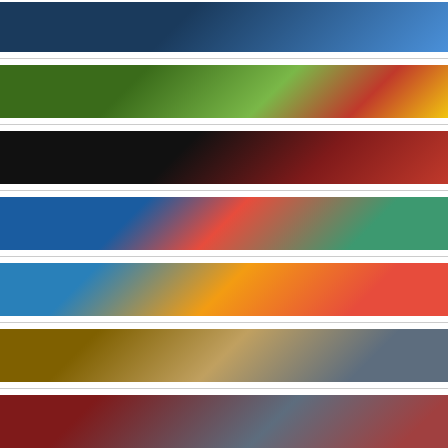Personnel in Grimsborough — Read
Top 10 Facebook Games You Need to Play Today — Read
We Need a New Red Alert Game. Here's Why. — Read
Is Marble Racing Considered a Sport? — Read
Is Gacha Considered Gambling? — Read
What Makes Hidden Object Games So Fun — Read
Top Military Strategy Games You Can Play Online — Read
Top 5 Tips and Tricks to Dominate Opponents in Apex Legends — Read